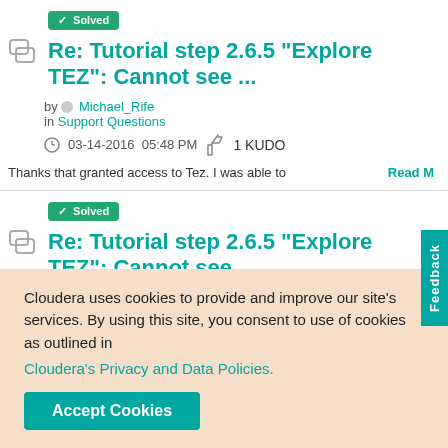✓ Solved
Re: Tutorial step 2.6.5 "Explore TEZ": Cannot see ...
by Michael_Rife in Support Questions
03-14-2016  05:48 PM   1 KUDO
Thanks that granted access to Tez. I was able to
Read M...
✓ Solved
Re: Tutorial step 2.6.5 "Explore TEZ": Cannot see ...
Feedback
Cloudera uses cookies to provide and improve our site's services. By using this site, you consent to use of cookies as outlined in
Cloudera's Privacy and Data Policies.
Accept Cookies